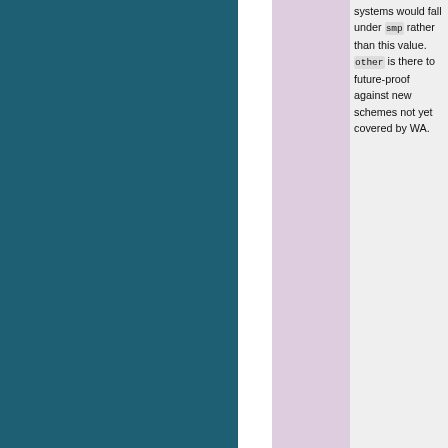systems would fall under smp rather than this value. other is there to future-proof against new schemes not yet covered by WA.
allowed values: 'unknown', 'smp', 'hmp', 'iks', 'ea', 'other'
default
[Figure (other): Version dropdown badge showing 'v: legacy']
iks_switch_frequency : integer